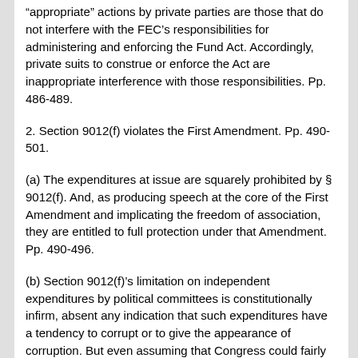“appropriate” actions by private parties are those that do not interfere with the FEC’s responsibilities for administering and enforcing the Fund Act. Accordingly, private suits to construe or enforce the Act are inappropriate interference with those responsibilities. Pp. 486-489.
2. Section 9012(f) violates the First Amendment. Pp. 490-501.
(a) The expenditures at issue are squarely prohibited by § 9012(f). And, as producing speech at the core of the First Amendment and implicating the freedom of association, they are entitled to full protection under that Amendment. Pp. 490-496.
(b) Section 9012(f)’s limitation on independent expenditures by political committees is constitutionally infirm, absent any indication that such expenditures have a tendency to corrupt or to give the appearance of corruption. But even assuming that Congress could fairly conclude that large-scale political action committees have a sufficient tendency to corrupt, § 9012(f) is a fatally overbroad response to that evil. It is not limited to multimillion dollar war chests, but applies equally to informal discussion groups that solicit neighborhood contributions to publicize their views about a particular Presidential candidate. Pp. 496-500.